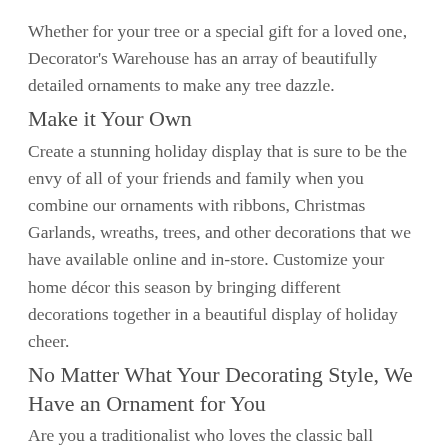Whether for your tree or a special gift for a loved one, Decorator's Warehouse has an array of beautifully detailed ornaments to make any tree dazzle.
Make it Your Own
Create a stunning holiday display that is sure to be the envy of all of your friends and family when you combine our ornaments with ribbons, Christmas Garlands, wreaths, trees, and other decorations that we have available online and in-store. Customize your home décor this season by bringing different decorations together in a beautiful display of holiday cheer.
No Matter What Your Decorating Style, We Have an Ornament for You
Are you a traditionalist who loves the classic ball